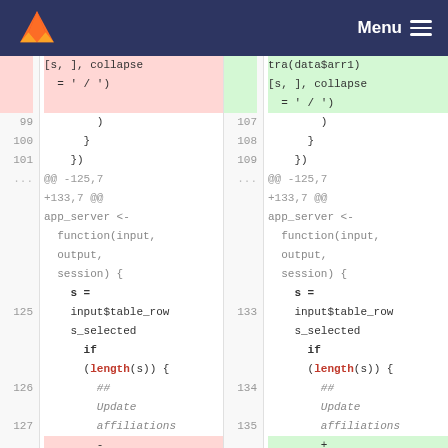Menu
[Figure (screenshot): A side-by-side code diff view showing two columns with line numbers. Left side shows deleted lines (pink background) and right side shows added lines (green background). Code content involves R code with app_server function, input$table_rows_selected, and length(s) function calls.]